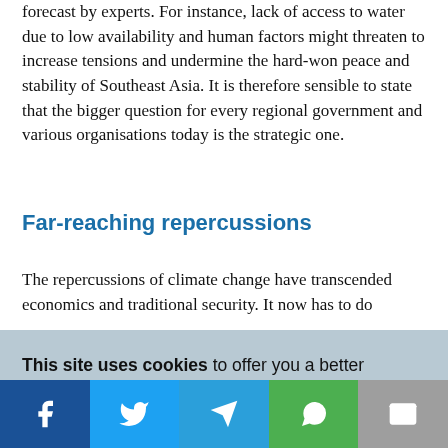forecast by experts. For instance, lack of access to water due to low availability and human factors might threaten to increase tensions and undermine the hard-won peace and stability of Southeast Asia. It is therefore sensible to state that the bigger question for every regional government and various organisations today is the strategic one.
Far-reaching repercussions
The repercussions of climate change have transcended economics and traditional security. It now has to do
This site uses cookies to offer you a better browsing experience. By continuing, you are agreeing to the use of cookies on your device as described in our privacy policy. Learn more
OK